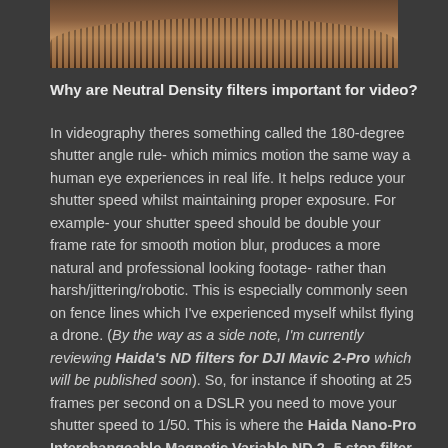[Figure (photo): Close-up photo of a circular lens or filter with ridged metallic bronze/copper edges, viewed from above, bottom portion visible.]
Why are Neutral Density filters important for video?
In videography theres something called the 180-degree shutter angle rule- which mimics motion the same way a human eye experiences in real life. It helps reduce your shutter speed whilst maintaining proper exposure. For example- your shutter speed should be double your frame rate for smooth motion blur, produces a more natural and professional looking footage- rather than harsh/jittering/robotic. This is especially commonly seen on fence lines which I've experienced myself whilst flying a drone. (By the way as a side note, I'm currently reviewing Haida's ND filters for DJI Mavic 2-Pro which will be published soon). So, for instance if shooting at 25 frames per second on a DSLR you need to move your shutter speed to 1/50. This is where the Haida Nano-Pro Interchangeable Magnetic Variable ND 2-5 stop filter is particular solves this issue.